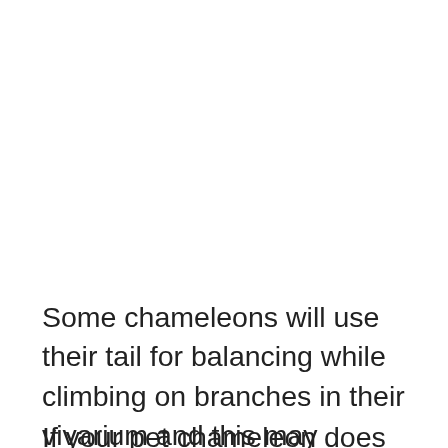Some chameleons will use their tail for balancing while climbing on branches in their vivarium and this may eventually result in them hanging by their tail as they climb.
If your pet chameleon does have multiple